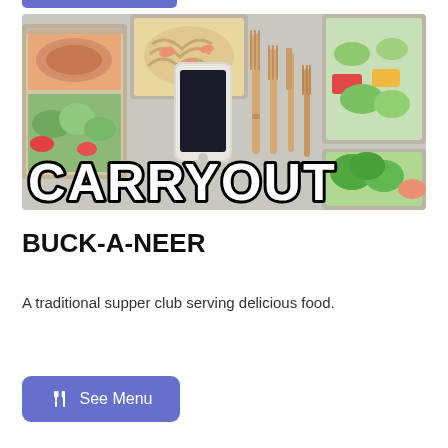[Figure (photo): Food carryout promotional image showing aluminum takeout containers with various foods (chicken, pasta, salads, broccoli), a smartphone, and wooden utensils (forks and knife) on a light background, with bold white text 'CARRYOUT' overlaid at the bottom]
BUCK-A-NEER
A traditional supper club serving delicious food.
See Menu